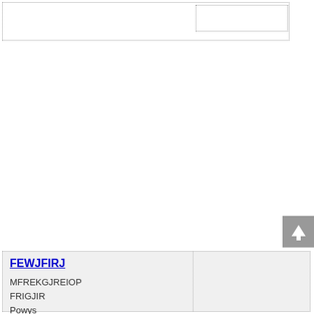[Figure (other): Scroll to top button with upward arrow icon]
FEWJFIRJ
MFREKGJREIOP
FRIGJIR
Powys